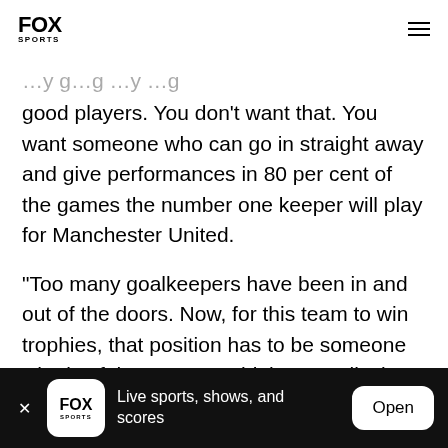FOX SPORTS
good players. You don't want that. You want someone who can go in straight away and give performances in 80 per cent of the games the number one keeper will play for Manchester United.
"Too many goalkeepers have been in and out of the doors. Now, for this team to win trophies, that position has to be someone who is of the very, very highest quality but also with the right experience."
FOX SPORTS — Live sports, shows, and scores — Open